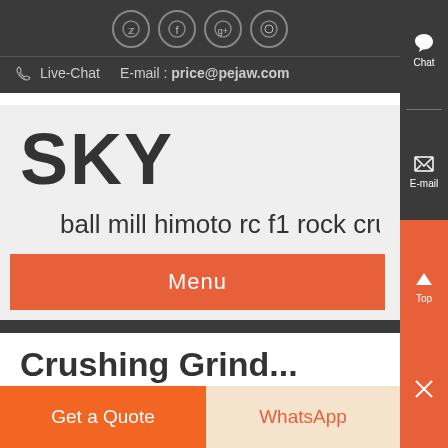[Figure (other): Social media icons row: Twitter, Facebook, Google+, Dribbble — white circle icons on dark background]
Live-Chat    E-mail : price@pejaw.com
SKY
ball mill himoto rc f1 rock crush
Menu
Chat
E-mail
Top
Get a Quote
WhatsApp